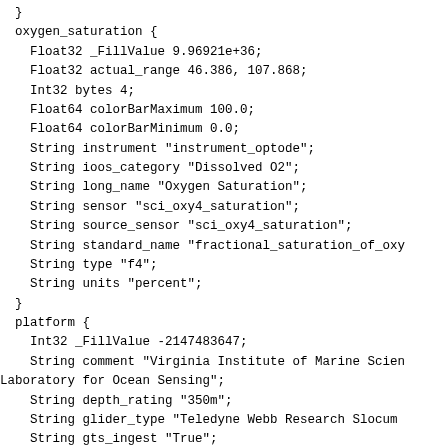}
  oxygen_saturation {
    Float32 _FillValue 9.96921e+36;
    Float32 actual_range 46.386, 107.868;
    Int32 bytes 4;
    Float64 colorBarMaximum 100.0;
    Float64 colorBarMinimum 0.0;
    String instrument "instrument_optode";
    String ioos_category "Dissolved O2";
    String long_name "Oxygen Saturation";
    String sensor "sci_oxy4_saturation";
    String source_sensor "sci_oxy4_saturation";
    String standard_name "fractional_saturation_of_oxy
    String type "f4";
    String units "percent";
  }
  platform {
    Int32 _FillValue -2147483647;
    String comment "Virginia Institute of Marine Scien
Laboratory for Ocean Sensing";
    String depth_rating "350m";
    String glider_type "Teledyne Webb Research Slocum
    String gts_ingest "True";
    String id "electa";
    String instruments
"instrument_ctd_rbr,instrument_flbbcdslc,instrument_bs